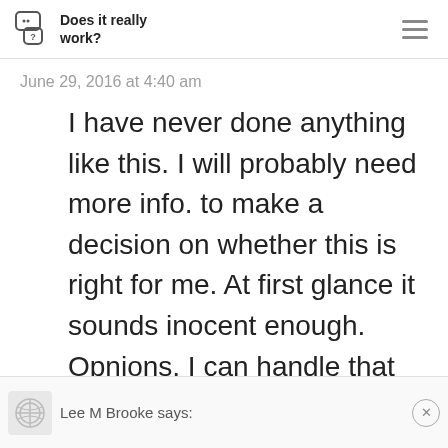Does it really work?
June 29, 2016 at 4:40 am
I have never done anything like this. I will probably need more info. to make a decision on whether this is right for me. At first glance it sounds inocent enough. Opnions, I can handle that
Lee M Brooke says: